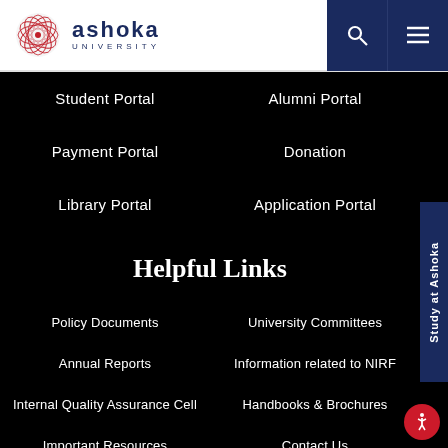[Figure (logo): Ashoka University logo with red circular geometric pattern and navy blue text]
Student Portal
Alumni Portal
Payment Portal
Donation
Library Portal
Application Portal
Helpful Links
Policy Documents
University Committees
Annual Reports
Information related to NIRF
Internal Quality Assurance Cell
Handbooks & Brochures
Important Resources
Contact Us
Invite Ashoka
Virtual Tour
Study at Ashoka